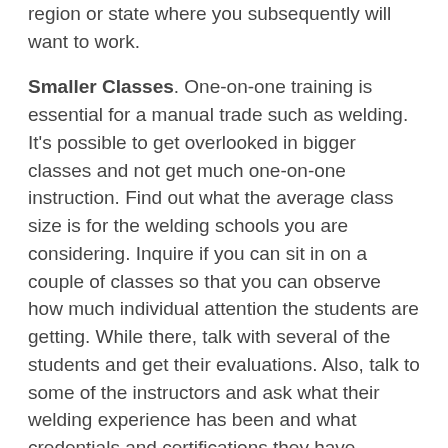region or state where you subsequently will want to work.
Smaller Classes. One-on-one training is essential for a manual trade such as welding. It's possible to get overlooked in bigger classes and not get much one-on-one instruction. Find out what the average class size is for the welding schools you are considering. Inquire if you can sit in on a couple of classes so that you can observe how much individual attention the students are getting. While there, talk with several of the students and get their evaluations. Also, talk to some of the instructors and ask what their welding experience has been and what credentials and certifications they have earned.
Convenient Class Scheduling. Many people learn a new profession while still working at their present job. Verify that the class schedules for the programs you are